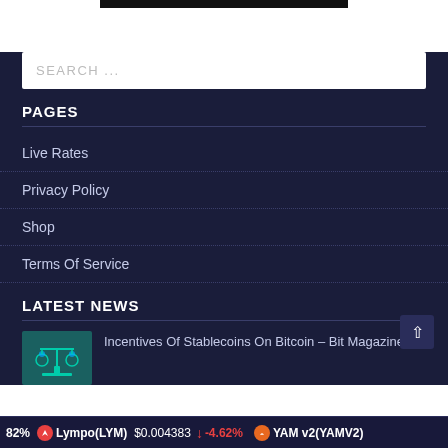[Figure (other): Black top bar / header image banner]
SEARCH ...
PAGES
Live Rates
Privacy Policy
Shop
Terms Of Service
LATEST NEWS
[Figure (illustration): Thumbnail image for news article about stablecoins on Bitcoin - balance scale icon on teal background]
Incentives Of Stablecoins On Bitcoin – Bit Magazine
82%   Lympo(LYM)   $0.004383   ↓ -4.62%   YAM v2(YAMV2)